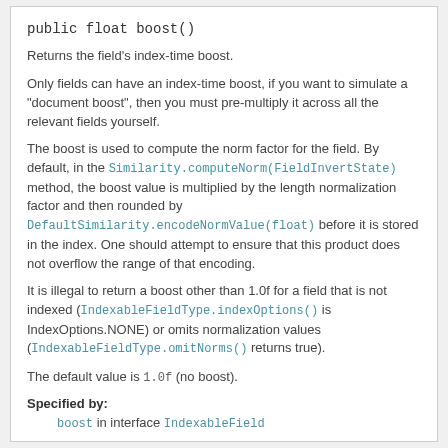public float boost()
Returns the field's index-time boost.
Only fields can have an index-time boost, if you want to simulate a "document boost", then you must pre-multiply it across all the relevant fields yourself.
The boost is used to compute the norm factor for the field. By default, in the Similarity.computeNorm(FieldInvertState) method, the boost value is multiplied by the length normalization factor and then rounded by DefaultSimilarity.encodeNormValue(float) before it is stored in the index. One should attempt to ensure that this product does not overflow the range of that encoding.
It is illegal to return a boost other than 1.0f for a field that is not indexed (IndexableFieldType.indexOptions() is IndexOptions.NONE) or omits normalization values (IndexableFieldType.omitNorms() returns true).
The default value is 1.0f (no boost).
Specified by:
boost in interface IndexableField
See Also:
setBoost(float)